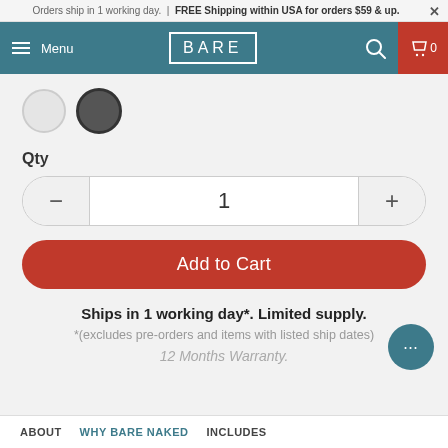Orders ship in 1 working day. | FREE Shipping within USA for orders $59 & up.
[Figure (screenshot): Navigation bar with hamburger menu, BARE logo, search icon, and shopping cart (0 items) on teal background]
[Figure (illustration): Two color swatches: light gray circle and dark gray/charcoal circle with dark border]
Qty
[Figure (illustration): Quantity selector with minus button, value of 1, and plus button]
Add to Cart
Ships in 1 working day*. Limited supply.
*(excludes pre-orders and items with listed ship dates)
12 Months Warranty.
ABOUT   WHY BARE NAKED   INCLUDES